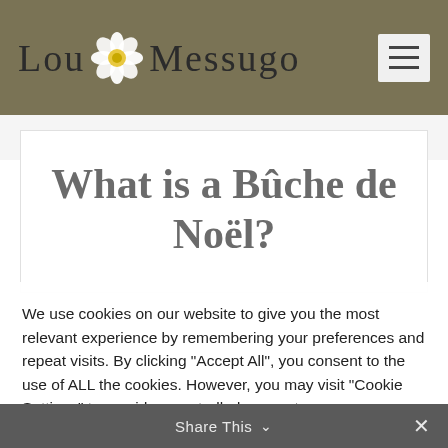Lou Messugo
What is a Bûche de Noël?
We use cookies on our website to give you the most relevant experience by remembering your preferences and repeat visits. By clicking "Accept All", you consent to the use of ALL the cookies. However, you may visit "Cookie Settings" to provide a controlled consent.
Cookie Settings | Accept All
Share This